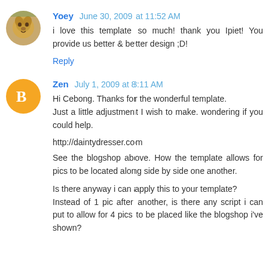[Figure (photo): Small square avatar photo of a golden-colored dog, used as profile picture for user Yoey]
Yoey June 30, 2009 at 11:52 AM
i love this template so much! thank you Ipiet! You provide us better & better design ;D!
Reply
[Figure (logo): Orange circle Blogger 'B' logo icon used as avatar for user Zen]
Zen July 1, 2009 at 8:11 AM
Hi Cebong. Thanks for the wonderful template.
Just a little adjustment I wish to make. wondering if you could help.

http://daintydresser.com

See the blogshop above. How the template allows for pics to be located along side by side one another.

Is there anyway i can apply this to your template?
Instead of 1 pic after another, is there any script i can put to allow for 4 pics to be placed like the blogshop i've shown?